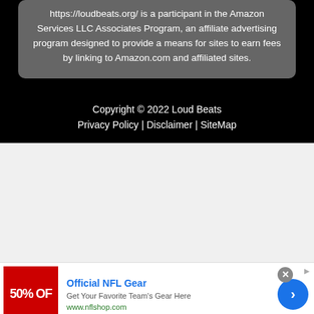https://loudbeats.org/ is a participant in the Amazon Services LLC Associates Program, an affiliate advertising program designed to provide a means for sites to earn fees by linking to Amazon.com and affiliated sites.
Copyright © 2022 Loud Beats
Privacy Policy | Disclaimer | SiteMap
[Figure (other): Advertisement banner: Official NFL Gear - Get Your Favorite Team's Gear Here - www.nflshop.com, with red 50% OFF image, blue arrow button, and close button]